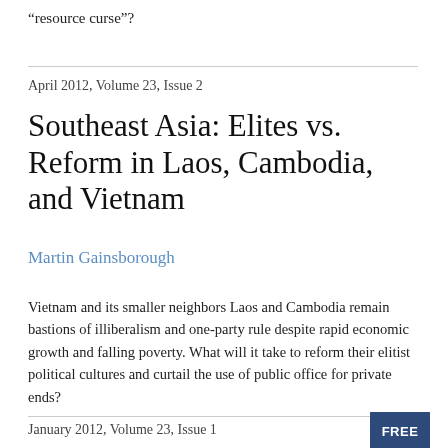“resource curse”?
April 2012, Volume 23, Issue 2
Southeast Asia: Elites vs. Reform in Laos, Cambodia, and Vietnam
Martin Gainsborough
Vietnam and its smaller neighbors Laos and Cambodia remain bastions of illiberalism and one-party rule despite rapid economic growth and falling poverty. What will it take to reform their elitist political cultures and curtail the use of public office for private ends?
January 2012, Volume 23, Issue 1